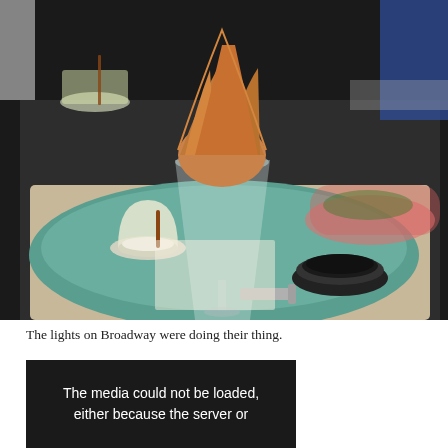[Figure (photo): A restaurant dish: a large martini-style glass filled with chips/crisps, served on a green oval plate with a small dipping sauce in a glass cup and a small dark ramekin of black caviar or sauce. Additional dishes visible in background.]
The lights on Broadway were doing their thing.
[Figure (screenshot): Dark video player showing media error message: 'The media could not be loaded, either because the server or']